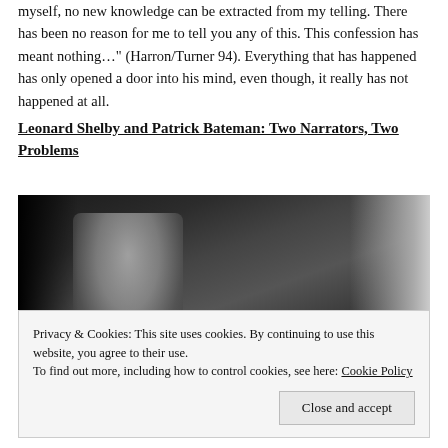myself, no new knowledge can be extracted from my telling. There has been no reason for me to tell you any of this. This confession has meant nothing..." (Harron/Turner 94). Everything that has happened has only opened a door into his mind, even though, it really has not happened at all.
Leonard Shelby and Patrick Bateman: Two Narrators, Two Problems
[Figure (photo): Black and white film still showing a dimly lit interior scene with a figure seated at what appears to be a desk, with light coming from a window on the right side.]
Privacy & Cookies: This site uses cookies. By continuing to use this website, you agree to their use.
To find out more, including how to control cookies, see here: Cookie Policy